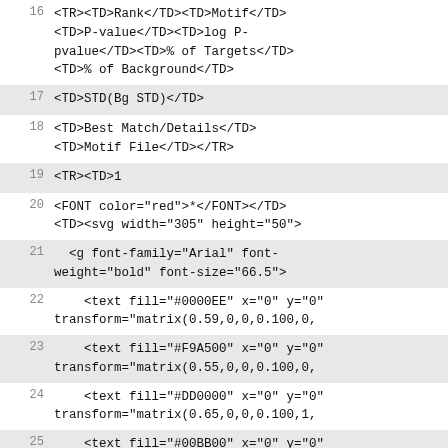16  <TR><TD>Rank</TD><TD>Motif</TD><TD>P-value</TD><TD>log P-pvalue</TD><TD>% of Targets</TD><TD>% of Background</TD>
17  <TD>STD(Bg STD)</TD>
18  <TD>Best Match/Details</TD><TD>Motif File</TD></TR>
19  <TR><TD>1
20  <FONT color="red">*</FONT></TD><TD><svg width="305" height="50">
21    <g font-family="Arial" font-weight="bold" font-size="66.5">
22      <text fill="#0000EE" x="0" y="0" transform="matrix(0.59,0,0,0.100,0,
23      <text fill="#F9A500" x="0" y="0" transform="matrix(0.55,0,0,0.100,0,
24      <text fill="#DD0000" x="0" y="0" transform="matrix(0.65,0,0,0.100,1,
25      <text fill="#00BB00" x="0" y="0" transform="matrix(0.53,0,0,0.700,2,
26
27      <text fill="#00BB00" x="0" y="0" transform="matrix(0.53,0,0,0.100,27
28      <text fill="#0000EE" x="0" y="0" transform="matrix(0.59,0,0,0.100,25